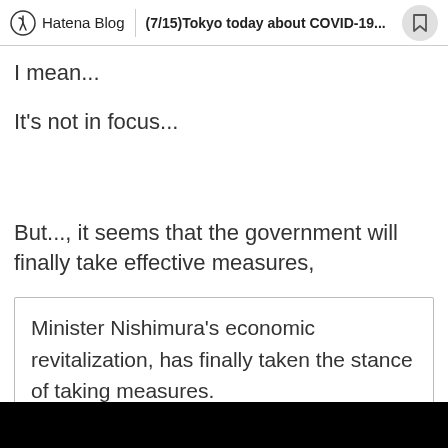Hatena Blog | (7/15)Tokyo today about COVID-19...
I mean...
It's not in focus...
But..., it seems that the government will finally take effective measures,
Minister Nishimura's economic revitalization, has finally taken the stance of taking measures.